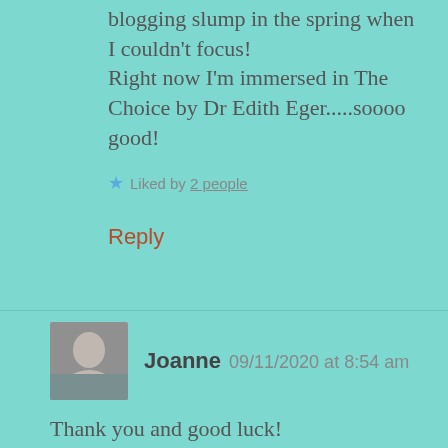blogging slump in the spring when I couldn't focus! Right now I'm immersed in The Choice by Dr Edith Eger.....soooo good!
Liked by 2 people
Reply
Joanne  09/11/2020 at 8:54 am
Thank you and good luck!
Liked by 2 people